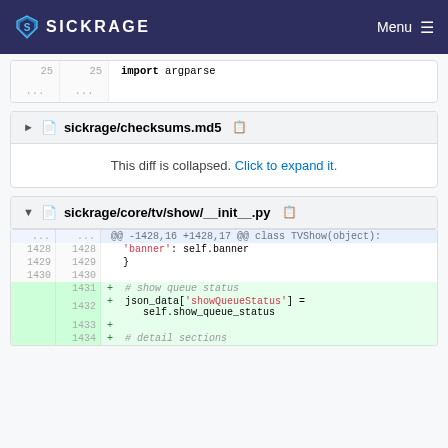SICKRAGE  Menu
[Figure (screenshot): Code diff snippet showing line 25 with 'import argparse' and ellipsis rows]
sickrage/checksums.md5
This diff is collapsed. Click to expand it.
sickrage/core/tv/show/__init__.py
@@ -1428,16 +1428,17 @@ class TVShow(object):
1428  1428    'banner': self.banner
1429  1429    }
1430  1430
      1431  + # show queue status
      1432  + json_data['showQueueStatus'] = self.show_queue_status
      1433  +
      1434  + # detail sections